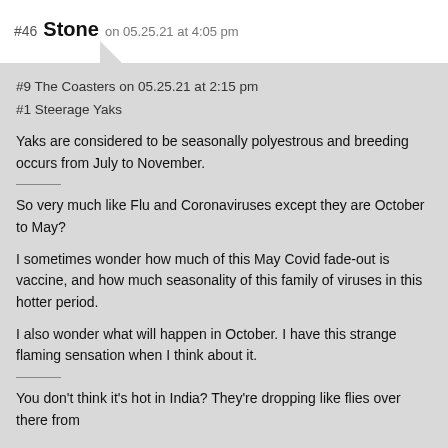#46 Stone on 05.25.21 at 4:05 pm
#9 The Coasters on 05.25.21 at 2:15 pm
#1 Steerage Yaks
Yaks are considered to be seasonally polyestrous and breeding occurs from July to November.
So very much like Flu and Coronaviruses except they are October to May?
I sometimes wonder how much of this May Covid fade-out is vaccine, and how much seasonality of this family of viruses in this hotter period.
I also wonder what will happen in October. I have this strange flaming sensation when I think about it.
You don't think it's hot in India? They're dropping like flies over there from